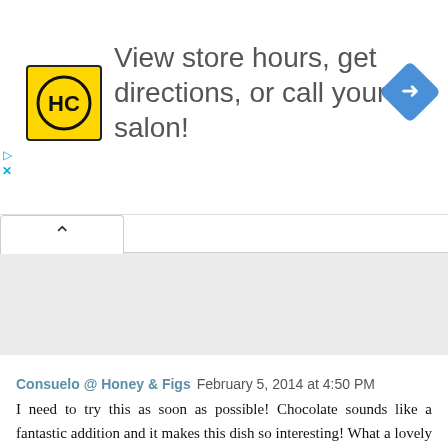[Figure (logo): HC (Haircut) salon logo — yellow square with HC letters in black circle, beside text 'View store hours, get directions, or call your salon!' and a blue navigation diamond icon]
[Figure (screenshot): Gray empty content area with a white tab/panel above it showing an up-caret collapse button]
Consuelo @ Honey & Figs February 5, 2014 at 4:50 PM
I need to try this as soon as possible! Chocolate sounds like a fantastic addition and it makes this dish so interesting! What a lovely and easy dinner! Pinning : )